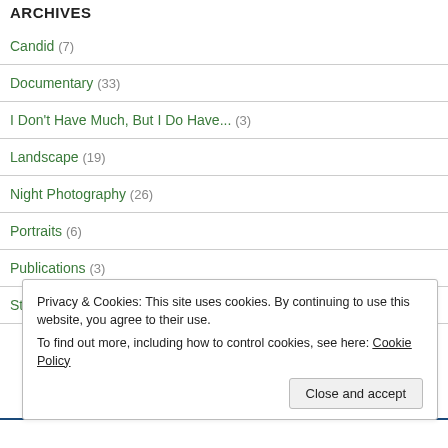ARCHIVES
Candid (7)
Documentary (33)
I Don't Have Much, But I Do Have... (3)
Landscape (19)
Night Photography (26)
Portraits (6)
Publications (3)
Street Photography (41)
Privacy & Cookies: This site uses cookies. By continuing to use this website, you agree to their use. To find out more, including how to control cookies, see here: Cookie Policy
Close and accept